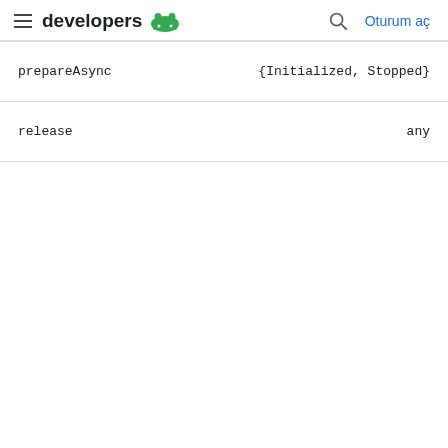developers  Oturum aç
| prepareAsync | {Initialized, Stopped} |
| release | any |